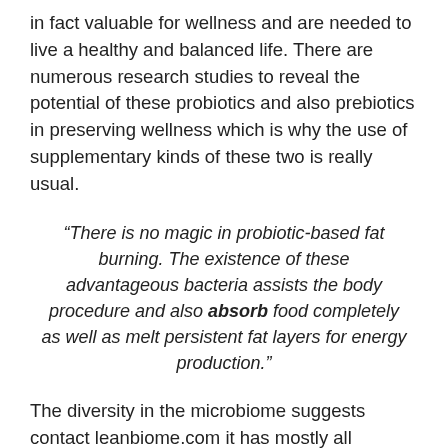in fact valuable for wellness and are needed to live a healthy and balanced life. There are numerous research studies to reveal the potential of these probiotics and also prebiotics in preserving wellness which is why the use of supplementary kinds of these two is really usual.
“There is no magic in probiotic-based fat burning. The existence of these advantageous bacteria assists the body procedure and also absorb food completely as well as melt persistent fat layers for energy production.”
The diversity in the microbiome suggests contact leanbiome.com it has mostly all bacterial pressures that are needed to make improvements